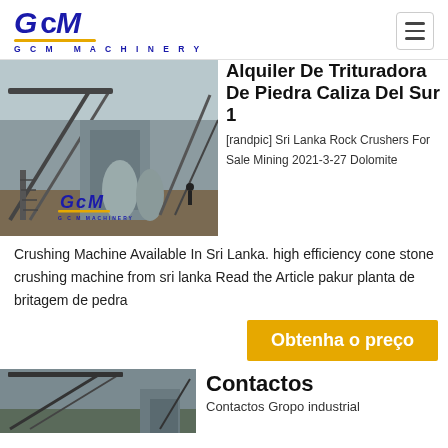GCM MACHINERY
[Figure (photo): Industrial crushing/mining plant with conveyor belts and large machinery, GCM Machinery logo visible]
Alquiler De Trituradora De Piedra Caliza Del Sur 1
[randpic] Sri Lanka Rock Crushers For Sale Mining 2021-3-27 Dolomite
Crushing Machine Available In Sri Lanka. high efficiency cone stone crushing machine from sri lanka Read the Article pakur planta de britagem de pedra
Obtenha o preço
[Figure (photo): Industrial mining/crushing machinery with conveyor structures]
Contactos
Contactos Gropo industrial